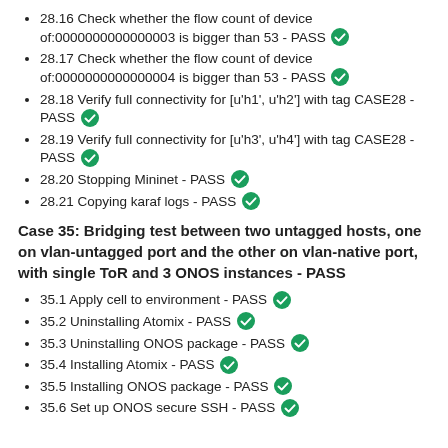28.16 Check whether the flow count of device of:0000000000000003 is bigger than 53 - PASS ✅
28.17 Check whether the flow count of device of:0000000000000004 is bigger than 53 - PASS ✅
28.18 Verify full connectivity for [u'h1', u'h2'] with tag CASE28 - PASS ✅
28.19 Verify full connectivity for [u'h3', u'h4'] with tag CASE28 - PASS ✅
28.20 Stopping Mininet - PASS ✅
28.21 Copying karaf logs - PASS ✅
Case 35: Bridging test between two untagged hosts, one on vlan-untagged port and the other on vlan-native port, with single ToR and 3 ONOS instances - PASS
35.1 Apply cell to environment - PASS ✅
35.2 Uninstalling Atomix - PASS ✅
35.3 Uninstalling ONOS package - PASS ✅
35.4 Installing Atomix - PASS ✅
35.5 Installing ONOS package - PASS ✅
35.6 Set up ONOS secure SSH - PASS ✅